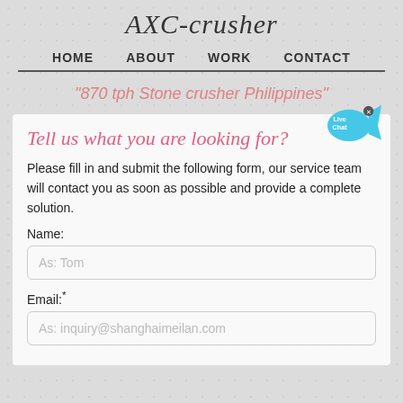AXC-crusher
HOME   ABOUT   WORK   CONTACT
"870 tph Stone crusher Philippines"
Tell us what you are looking for?
Please fill in and submit the following form, our service team will contact you as soon as possible and provide a complete solution.
Name:
As: Tom
Email:*
As: inquiry@shanghaimeilan.com